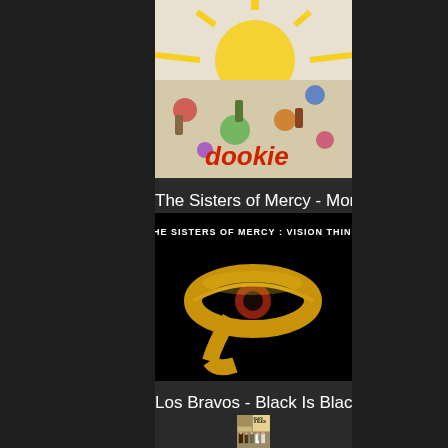[Figure (illustration): Album cover art for a music album - colorful comic-style illustration with 'dookie' text in red]
The Sisters of Mercy - More
[Figure (illustration): Album cover for The Sisters of Mercy: Vision Thing - black background with golden Egyptian eye of Ra symbol, text reads 'THE SISTERS OF MERCY : VISION THING']
Los Bravos - Black Is Black
[Figure (illustration): Album cover for Los Bravos - Black Is Black featuring five young men in suits with 'BLACK IS BLACK' text]